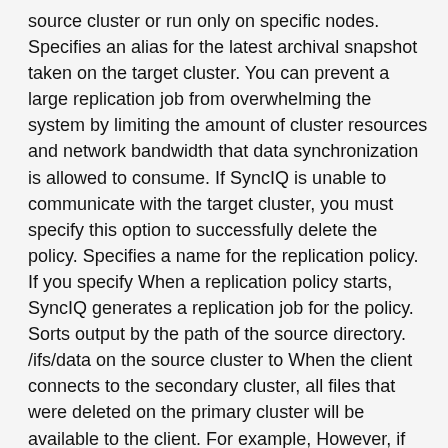source cluster or run only on specific nodes. Specifies an alias for the latest archival snapshot taken on the target cluster. You can prevent a large replication job from overwhelming the system by limiting the amount of cluster resources and network bandwidth that data synchronization is allowed to consume. If SyncIQ is unable to communicate with the target cluster, you must specify this option to successfully delete the policy. Specifies a name for the replication policy. If you specify When a replication policy starts, SyncIQ generates a replication job for the policy. Sorts output by the path of the source directory. /ifs/data on the source cluster to When the client connects to the secondary cluster, all files that were deleted on the primary cluster will be available to the client. For example, However, if the action of the replication policy is set to copy, any file that was deleted on the primary cluster will be present on the secondary cluster. Selects files that were created after the specified time. You can pause a running replication job and then resume the job later. Main Page > Server Hardware > RAID